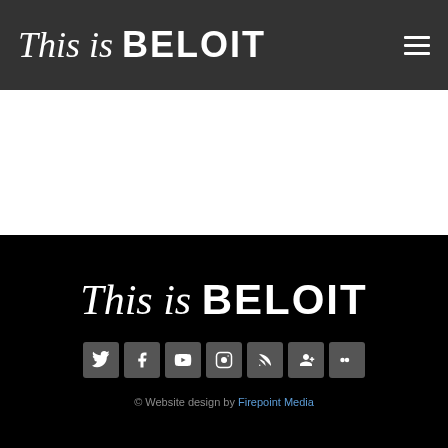This is BELOIT
[Figure (screenshot): White content area below header]
[Figure (logo): This is BELOIT footer logo in white on black background]
[Figure (other): Social media icons: Twitter, Facebook, YouTube, Instagram, RSS, Google+, and one more icon]
© Website design by Firepoint Media